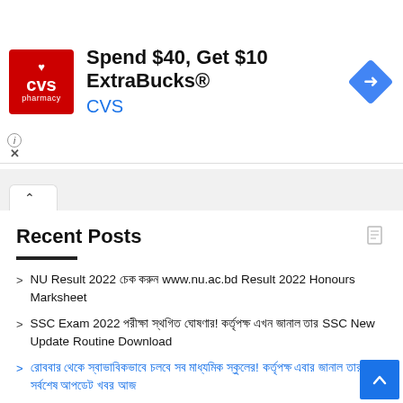[Figure (other): CVS Pharmacy advertisement banner: red CVS logo on left, text 'Spend $40, Get $10 ExtraBucks®' in bold with 'CVS' in blue below, blue navigation diamond icon on right. Ad controls (i info icon and X close) on lower left.]
[Figure (screenshot): Browser tab area showing an active tab with an up-chevron (^) icon.]
Recent Posts
NU Result 2022 চেক করুন www.nu.ac.bd Result 2022 Honours Marksheet
SSC Exam 2022 পরীক্ষা স্থগিত ঘোষণার! কর্তৃপক্ষ এখন জানাল তার SSC New Update Routine Download
রোববার থেকে স্বাভাবিকভাবে চলবে সব মাধ্যমিক স্কুলের! কর্তৃপক্ষ এবার জানাল তার সর্বশেষ আপডেট খবর আজ
SSC Routine 2022 PDF Published (এসএসসি রুটিন) Update New SSC Exam Date & Time
SSC 2022 New Exam Date Update News Today Prothom Alo